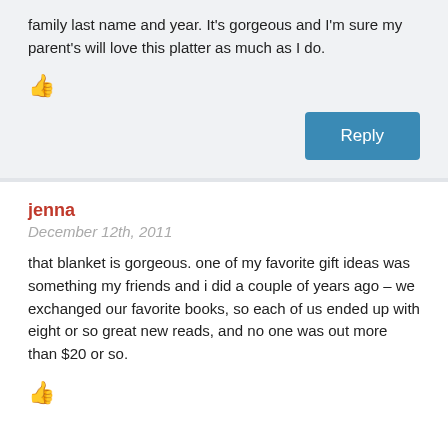family last name and year. It's gorgeous and I'm sure my parent's will love this platter as much as I do.
[Figure (other): Thumbs up icon]
Reply
jenna
December 12th, 2011
that blanket is gorgeous. one of my favorite gift ideas was something my friends and i did a couple of years ago – we exchanged our favorite books, so each of us ended up with eight or so great new reads, and no one was out more than $20 or so.
[Figure (other): Thumbs up icon]